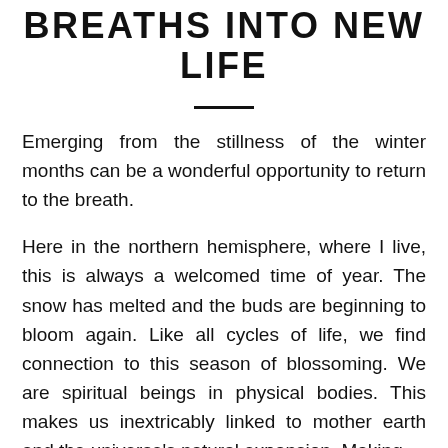BREATHS INTO NEW LIFE
Emerging from the stillness of the winter months can be a wonderful opportunity to return to the breath.
Here in the northern hemisphere, where I live, this is always a welcomed time of year. The snow has melted and the buds are beginning to bloom again. Like all cycles of life, we find connection to this season of blossoming. We are spiritual beings in physical bodies. This makes us inextricably linked to mother earth and the universe's natural expansion. Making